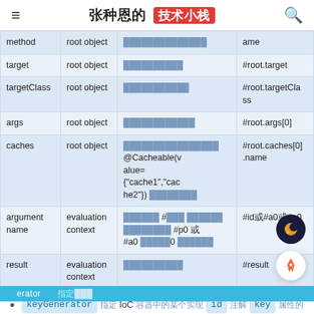张种恩的 技术小栈
| 名称 | 位置 | 描述 | 示例 |
| --- | --- | --- | --- |
| method | root object | ████████████ | ame |
| target | root object | ██████████ | #root.target |
| targetClass | root object | ███████████ | #root.targetClass |
| args | root object | ████████████ | #root.args[0] |
| caches | root object | ████████████████@Cacheable(value={"cache1","cache2"}) ████████ | #root.caches[0].name |
| argument name | evaluation context | ██████ #███ ████████ #p0 或 #a0 █████0 ██████ | #id或#a0或#p0 |
| result | evaluation context | ██████████ | #result |
keyGenerator 指定 IoC 容器中的某个实现 id 注解 key 属性的
erator 指定███